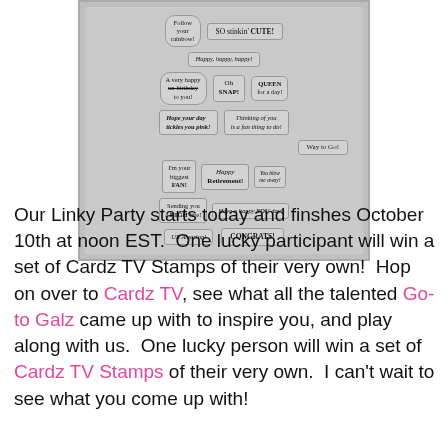[Figure (photo): A rubber stamp set showing multiple sentiment phrases including 'Follow your rainbow!', 'SO stinkin' CUTE!', 'Happy, happy, happy!', 'A very happy un-birthday to you!', 'Oh SNAP!', 'QUEEN for a day!', 'Hope your day tickles you pink!', 'Thinking of you is a fun thing to do!', 'Way to Go!', 'I'm your biggest FAN!', 'Happy Retirement!', 'You blow me away!', 'Sending you a HIGH five!', 'Have a happy YOU day!', 'UR Amazing!', 'CONGRATS!']
Our Linky Party starts today and finshes October 10th at noon EST.  One lucky participant will win a set of Cardz TV Stamps of their very own!  Hop on over to Cardz TV, see what all the talented Go-to Galz came up with to inspire you, and play along with us.  One lucky person will win a set of Cardz TV Stamps of their very own.  I can't wait to see what you come up with!